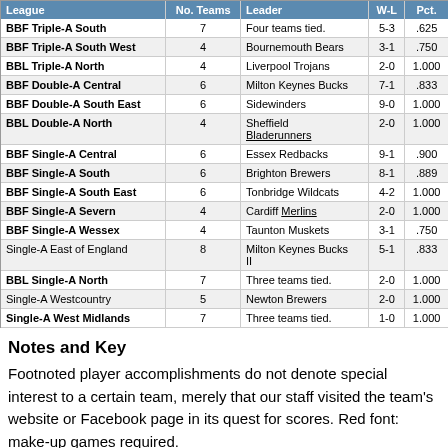| League | No. Teams | Leader | W-L | Pct. |
| --- | --- | --- | --- | --- |
| BBF Triple-A South | 7 | Four teams tied. | 5-3 | .625 |
| BBF Triple-A South West | 4 | Bournemouth Bears | 3-1 | .750 |
| BBL Triple-A North | 4 | Liverpool Trojans | 2-0 | 1.000 |
| BBF Double-A Central | 6 | Milton Keynes Bucks | 7-1 | .833 |
| BBF Double-A South East | 6 | Sidewinders | 9-0 | 1.000 |
| BBL Double-A North | 4 | Sheffield Bladerunners | 2-0 | 1.000 |
| BBF Single-A Central | 6 | Essex Redbacks | 9-1 | .900 |
| BBF Single-A South | 6 | Brighton Brewers | 8-1 | .889 |
| BBF Single-A South East | 6 | Tonbridge Wildcats | 4-2 | 1.000 |
| BBF Single-A Severn | 4 | Cardiff Merlins | 2-0 | 1.000 |
| BBF Single-A Wessex | 4 | Taunton Muskets | 3-1 | .750 |
| Single-A East of England | 8 | Milton Keynes Bucks II | 5-1 | .833 |
| BBL Single-A North | 7 | Three teams tied. | 2-0 | 1.000 |
| Single-A Westcountry | 5 | Newton Brewers | 2-0 | 1.000 |
| Single-A West Midlands | 7 | Three teams tied. | 1-0 | 1.000 |
Notes and Key
Footnoted player accomplishments do not denote special interest to a certain team, merely that our staff visited the team's website or Facebook page in its quest for scores. Red font: make-up games required.